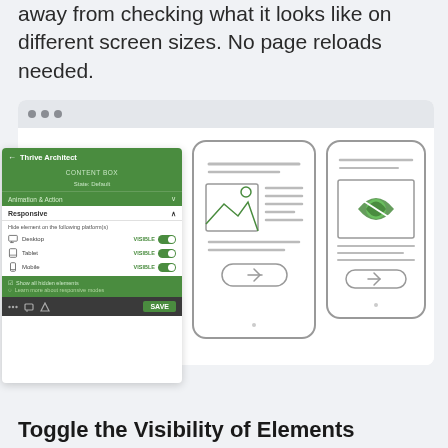away from checking what it looks like on different screen sizes. No page reloads needed.
[Figure (screenshot): Screenshot of Thrive Architect responsive panel showing Desktop, Tablet, Mobile all set to VISIBLE with green toggles, overlaid on a browser window showing two phone wireframes with image and button layouts]
Toggle the Visibility of Elements